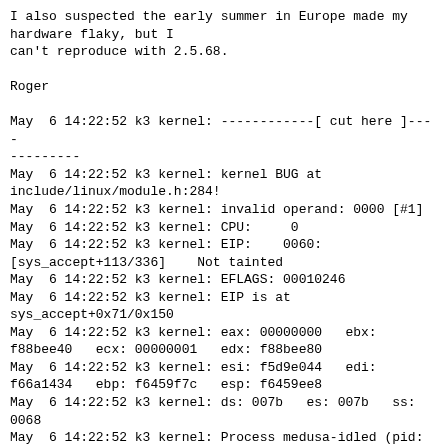I also suspected the early summer in Europe made my hardware flaky, but I
can't reproduce with 2.5.68.

Roger

May  6 14:22:52 k3 kernel: ------------[ cut here ]------------
May  6 14:22:52 k3 kernel: kernel BUG at include/linux/module.h:284!
May  6 14:22:52 k3 kernel: invalid operand: 0000 [#1]
May  6 14:22:52 k3 kernel: CPU:     0
May  6 14:22:52 k3 kernel: EIP:    0060: [sys_accept+113/336]    Not tainted
May  6 14:22:52 k3 kernel: EFLAGS: 00010246
May  6 14:22:52 k3 kernel: EIP is at sys_accept+0x71/0x150
May  6 14:22:52 k3 kernel: eax: 00000000   ebx: f88bee40   ecx: 00000001   edx: f88bee80
May  6 14:22:52 k3 kernel: esi: f5d9e044   edi: f66a1434   ebp: f6459f7c   esp: f6459ee8
May  6 14:22:52 k3 kernel: ds: 007b   es: 007b   ss: 0068
May  6 14:22:52 k3 kernel: Process medusa-idled (pid: 1205, threadinfo=f6458000 task=f6457980)
May  6 14:22:52 k3 kernel: Stack: bffff704 f6459fa4 00000004 f6459f94 00000000 f6459f60 f6459f60 bffff5a8
May  6 14:22:52 k3 kernel:        f6458000 f6459fb4 f7fff080 f7210808 f6458000 c03ad300 f645801c 00000000
May  6 14:22:52 k3 kernel:        00000002 00000000 fffeff9a 00000000 00000000 f6457980 c011bfd0 00000000